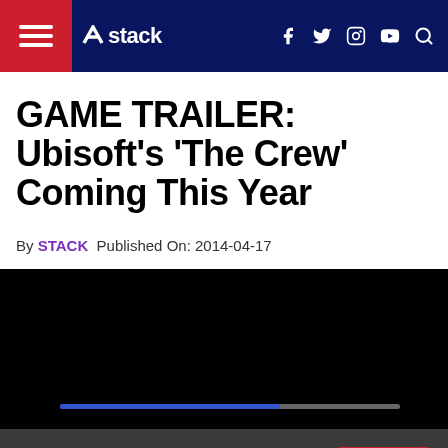stack — navigation bar with hamburger menu, logo, social icons (f, Twitter, Instagram, YouTube), and search
GAME TRAILER: Ubisoft’s ‘The Crew’ Coming This Year
By STACK  Published On: 2014-04-17
[Figure (screenshot): Black video player area with a progress/loading bar at bottom]
This website uses cookies and third party services.